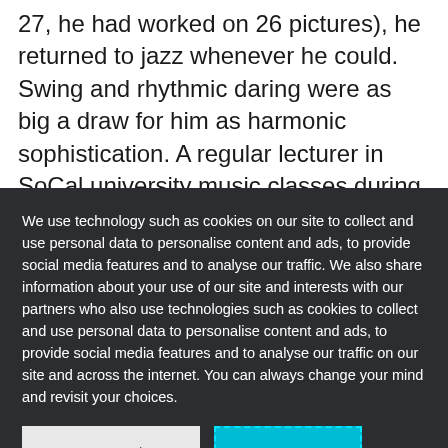27, he had worked on 26 pictures), he returned to jazz whenever he could. Swing and rhythmic daring were as big a draw for him as harmonic sophistication. A regular lecturer in SoCal university music classes during the late '50s, Previn spent a lot of classroom time on jazz. He loved the thrill of sitting in with the
We use technology such as cookies on our site to collect and use personal data to personalise content and ads, to provide social media features and to analyse our traffic. We also share information about your use of our site and interests with our partners who also use technologies such as cookies to collect and use personal data to personalise content and ads, to provide social media features and to analyse our traffic on our site and across the internet. You can always change your mind and revisit your choices.